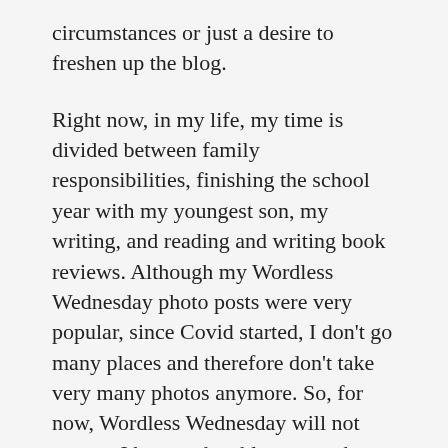circumstances or just a desire to freshen up the blog.
Right now, in my life, my time is divided between family responsibilities, finishing the school year with my youngest son, my writing, and reading and writing book reviews. Although my Wordless Wednesday photo posts were very popular, since Covid started, I don't go many places and therefore don't take very many photos anymore. So, for now, Wordless Wednesday will not appear. I hope to be able to post them, at least occasionally, in the future.
I am planning to start a monthly e-newsletter where I will give updates on my upcoming